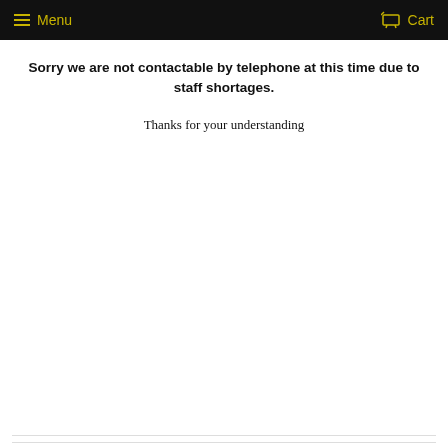Menu   Cart
Sorry we are not contactable by telephone at this time due to staff shortages.
Thanks for your understanding
© 2022 crackinchina   Powered by Shopify
[Figure (logo): Payment method logos: American Express, Apple Pay, Diners Club, Discover, Maestro, MasterCard, PayPal, Visa]